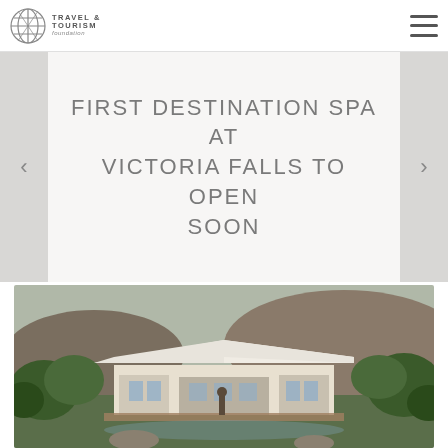Travel & Tourism Foundation
FIRST DESTINATION SPA AT VICTORIA FALLS TO OPEN SOON
[Figure (photo): Architectural rendering of a luxury destination spa resort with white tensile fabric roof structures and wooden decking surrounded by lush vegetation, near Victoria Falls.]